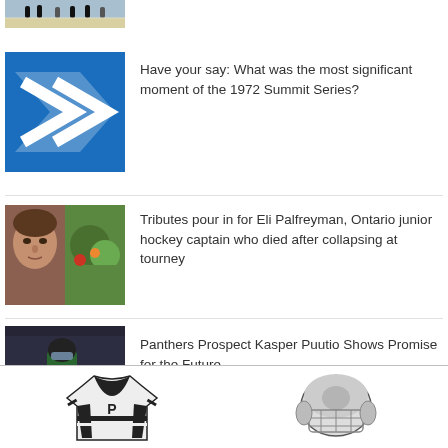[Figure (photo): Partial hockey game photo at top of page, players on ice]
[Figure (illustration): Blue rectangle with white chevron/arrow graphic for poll article]
Have your say: What was the most significant moment of the 1972 Summit Series?
[Figure (photo): Composite photo of Eli Palfreyman and a hockey scene]
Tributes pour in for Eli Palfreyman, Ontario junior hockey captain who died after collapsing at tourney
[Figure (photo): Photo of Panthers prospect Kasper Puutio skating on ice]
Panthers Prospect Kasper Puutio Shows Promise for the Future
[Figure (illustration): Hockey jersey illustration at bottom left]
[Figure (illustration): Hockey helmet illustration at bottom right]